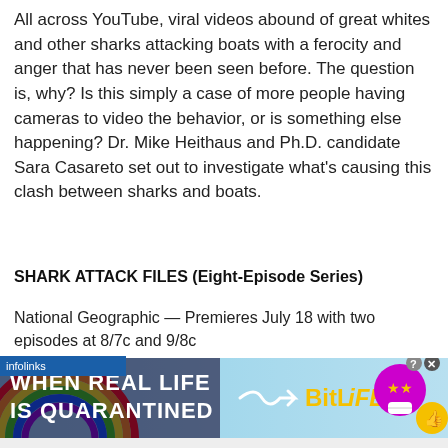All across YouTube, viral videos abound of great whites and other sharks attacking boats with a ferocity and anger that has never been seen before. The question is, why? Is this simply a case of more people having cameras to video the behavior, or is something else happening? Dr. Mike Heithaus and Ph.D. candidate Sara Casareto set out to investigate what's causing this clash between sharks and boats.
SHARK ATTACK FILES (Eight-Episode Series)
National Geographic — Premieres July 18 with two episodes at 8/7c and 9/8c
[Figure (screenshot): An advertisement banner showing 'WHEN REAL LIFE IS QUARANTINED' with BitLife game branding, rainbow colors, emoji-face character with star eyes wearing a mask, and a thumbs-up emoji. Has an infolinks label and close/info buttons.]